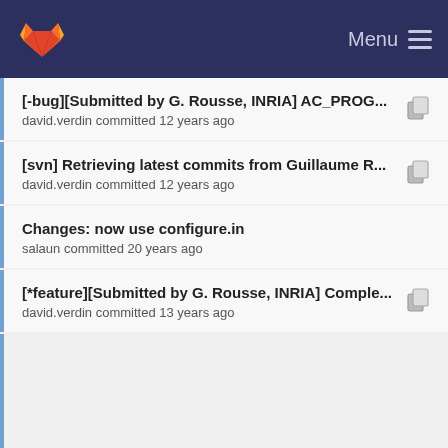Menu
[-bug][Submitted by G. Rousse, INRIA] AC_PROG... david.verdin committed 12 years ago
[svn] Retrieving latest commits from Guillaume R... david.verdin committed 12 years ago
Changes: now use configure.in salaun committed 20 years ago
[*feature][Submitted by G. Rousse, INRIA] Comple... david.verdin committed 13 years ago
[-dev] Some typos in configure